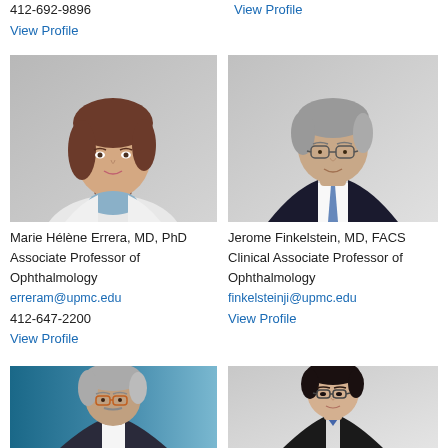412-692-9896
View Profile
View Profile
[Figure (photo): Headshot of Marie Hélène Errera, woman with brown hair, wearing white blazer]
Marie Hélène Errera, MD, PhD
Associate Professor of Ophthalmology
erreram@upmc.edu
412-647-2200
View Profile
[Figure (photo): Headshot of Jerome Finkelstein, man with glasses and gray hair, wearing dark suit]
Jerome Finkelstein, MD, FACS
Clinical Associate Professor of Ophthalmology
finkelsteinji@upmc.edu
View Profile
[Figure (photo): Headshot of man with gray hair and glasses against blue background]
[Figure (photo): Headshot of Asian woman with glasses and dark hair pulled back]